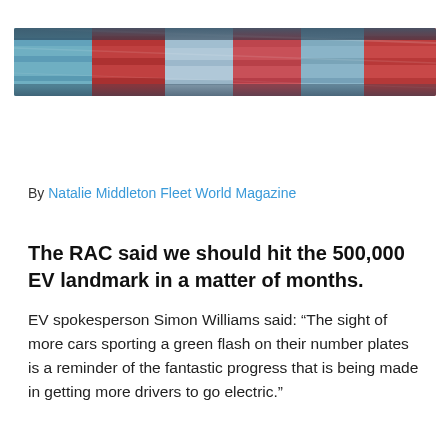[Figure (photo): A row of cars parked side by side, showing colorful rooftops including blue, red, and white vehicles, viewed from above at an angle.]
By Natalie Middleton Fleet World Magazine
The RAC said we should hit the 500,000 EV landmark in a matter of months.
EV spokesperson Simon Williams said: “The sight of more cars sporting a green flash on their number plates is a reminder of the fantastic progress that is being made in getting more drivers to go electric.”